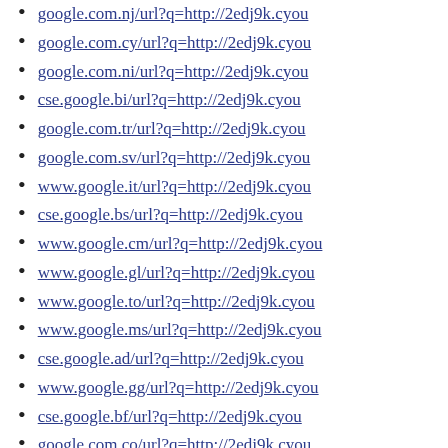google.com.nj/url?q=http://2edj9k.cyou
google.com.cy/url?q=http://2edj9k.cyou
google.com.ni/url?q=http://2edj9k.cyou
cse.google.bi/url?q=http://2edj9k.cyou
google.com.tr/url?q=http://2edj9k.cyou
google.com.sv/url?q=http://2edj9k.cyou
www.google.it/url?q=http://2edj9k.cyou
cse.google.bs/url?q=http://2edj9k.cyou
www.google.cm/url?q=http://2edj9k.cyou
www.google.gl/url?q=http://2edj9k.cyou
www.google.to/url?q=http://2edj9k.cyou
www.google.ms/url?q=http://2edj9k.cyou
cse.google.ad/url?q=http://2edj9k.cyou
www.google.gg/url?q=http://2edj9k.cyou
cse.google.bf/url?q=http://2edj9k.cyou
google.com.co/url?q=http://2edj9k.cyou
google.com.ag/url?q=http://2edj9k.cyou
google.com.sb/url?q=http://2edj9k.cyou
www.google.vu/url?q=http://2edj9k.cyou